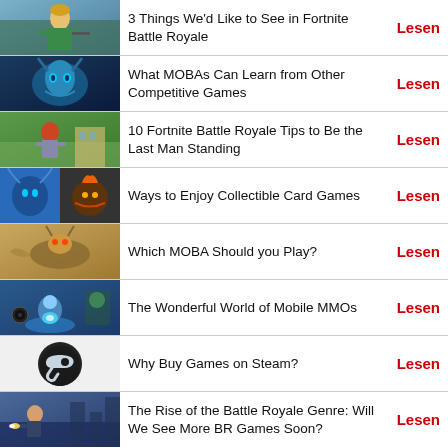3 Things We'd Like to See in Fortnite Battle Royale | Lesen
What MOBAs Can Learn from Other Competitive Games | Lesen
10 Fortnite Battle Royale Tips to Be the Last Man Standing | Lesen
Ways to Enjoy Collectible Card Games | Lesen
Which MOBA Should you Play? | Lesen
The Wonderful World of Mobile MMOs | Lesen
Why Buy Games on Steam? | Lesen
The Rise of the Battle Royale Genre: Will We See More BR Games Soon? | Lesen